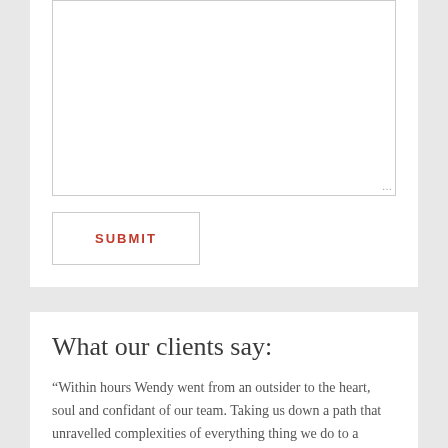[Figure (screenshot): A white form card containing a large empty textarea with a resize handle in the bottom-right corner, and a SUBMIT button below it with red uppercase text and a thin border.]
What our clients say:
“Within hours Wendy went from an outsider to the heart, soul and confidant of our team. Taking us down a path that unravelled complexities of everything thing we do to a